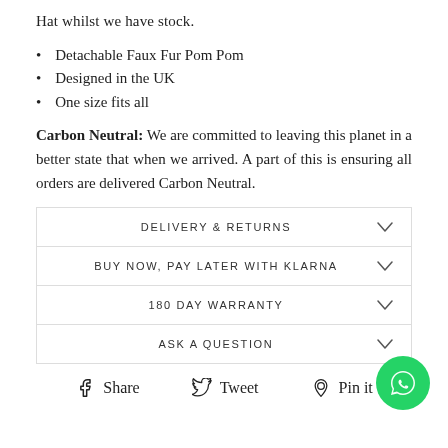Hat whilst we have stock.
Detachable Faux Fur Pom Pom
Designed in the UK
One size fits all
Carbon Neutral: We are committed to leaving this planet in a better state that when we arrived. A part of this is ensuring all orders are delivered Carbon Neutral.
DELIVERY & RETURNS
BUY NOW, PAY LATER WITH KLARNA
180 DAY WARRANTY
ASK A QUESTION
Share   Tweet   Pin it